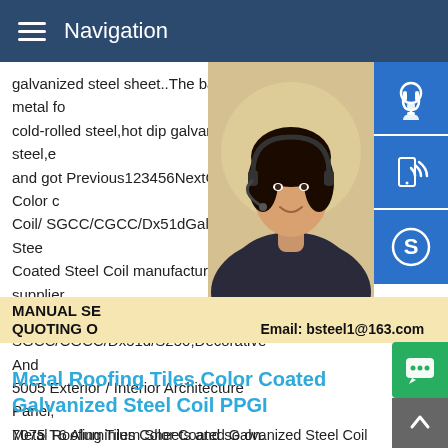Navigation
galvanized steel sheet..The base metal for cold-rolled steel,hot dip galvanized steel,e and got Previous123456NextChina Color Coil/ SGCC/CGCC/Dx51dGalvanized Steel Coated Steel Coil manufacturer / supplier Coated Galvanzied Steel Coil/ SGCC/CGCC/Dx51d/S250,Decorative And 5005 Exterior / Interior Architecture Panel, 7075 T6 Aluminium Sheets and so on.
[Figure (photo): Woman with headset, customer service representative, partially visible]
MANUAL SE QUOTING O Email: bsteel1@163.com
Metal Roofing Tiles Color Coated Galvanized Steel Coil PPGI
Metal Roofing Tiles Color Coated Galvanized Steel Coil PPGI 1.Thick 0.12 ~1.0 mm; 2.Width:600-1250 mm ; 3.Material SGCC,DX51D~DX53D,G350-G550 .Metal Roofing Tiles Color Coated Galvanized Steel Coil PPGIMetal Roofing Tiles Color